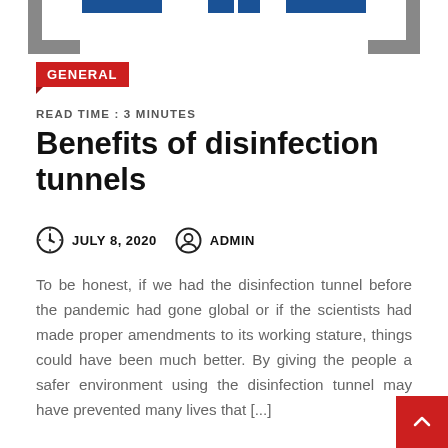GENERAL
READ TIME : 3 MINUTES
Benefits of disinfection tunnels
JULY 8, 2020   ADMIN
To be honest, if we had the disinfection tunnel before the pandemic had gone global or if the scientists had made proper amendments to its working stature, things could have been much better. By giving the people a safer environment using the disinfection tunnel may have prevented many lives that [...]